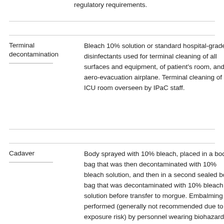regulatory requirements.
| Terminal decontamination | Bleach 10% solution or standard hospital-grade disinfectants used for terminal cleaning of all surfaces and equipment, of patient's room, and of aero-evacuation airplane. Terminal cleaning of ICU room overseen by IPaC staff. |
| Cadaver | Body sprayed with 10% bleach, placed in a body bag that was then decontaminated with 10% bleach solution, and then in a second sealed body bag that was decontaminated with 10% bleach solution before transfer to morgue. Embalming performed (generally not recommended due to exposure risk) by personnel wearing biohazard suits with hood, full face respirators, and double gloves overlapping sleeves of biohazard suit (duct-taped at wrists). Embalming procedures observed by IPaC staff. Body maintained in |